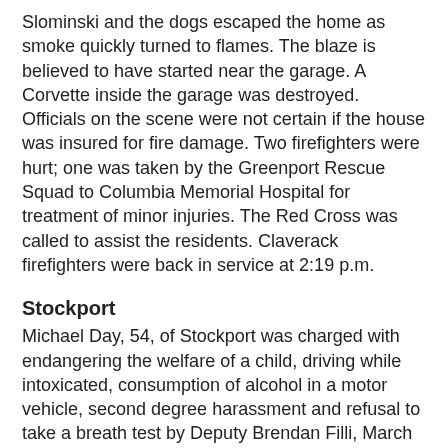Slominski and the dogs escaped the home as smoke quickly turned to flames. The blaze is believed to have started near the garage. A Corvette inside the garage was destroyed. Officials on the scene were not certain if the house was insured for fire damage. Two firefighters were hurt; one was taken by the Greenport Rescue Squad to Columbia Memorial Hospital for treatment of minor injuries. The Red Cross was called to assist the residents. Claverack firefighters were back in service at 2:19 p.m.
Stockport
Michael Day, 54, of Stockport was charged with endangering the welfare of a child, driving while intoxicated, consumption of alcohol in a motor vehicle, second degree harassment and refusal to take a breath test by Deputy Brendan Filli, March 17 at 3:42 p.m. The deputy was called to investigate a dispute as the Day residence, where Mr. Day allegedly crashed his 2006 GMC pickup truck into his garage door and then got into an altercation. Arraigned in Stockport Court before Justice Harold Horner, Mr. Day was sent to the county jail in lieu of $250 cash bail or $500 bail bond and ordered to return to town court at a